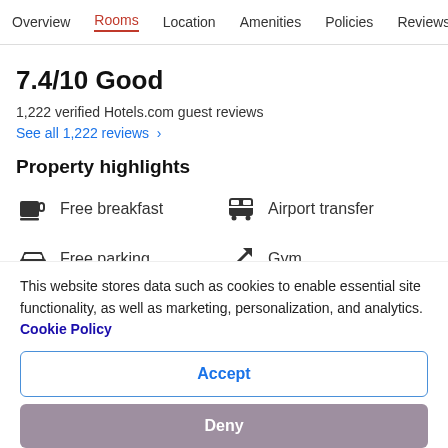Overview  Rooms  Location  Amenities  Policies  Reviews
7.4/10 Good
1,222 verified Hotels.com guest reviews
See all 1,222 reviews  ›
Property highlights
Free breakfast
Airport transfer
Free parking
Gym
This website stores data such as cookies to enable essential site functionality, as well as marketing, personalization, and analytics. Cookie Policy
Accept
Deny